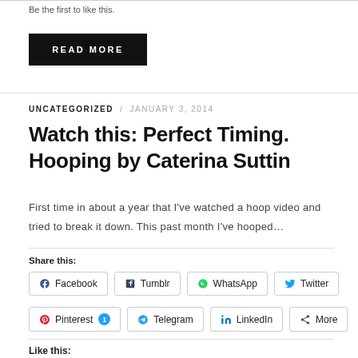Be the first to like this.
READ MORE
UNCATEGORIZED  /  JANUARY 3, 2014
Watch this: Perfect Timing. Hooping by Caterina Suttin
First time in about a year that I've watched a hoop video and tried to break it down. This past month I've hooped…
Share this:
Facebook  Tumblr  WhatsApp  Twitter  Pinterest 1  Telegram  LinkedIn  More
Like this: